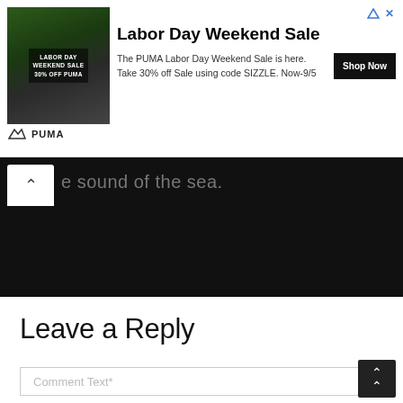[Figure (screenshot): PUMA advertisement banner showing Labor Day Weekend Sale with a person wearing PUMA clothing, product image with 30% off text, PUMA logo at bottom left]
Labor Day Weekend Sale
The PUMA Labor Day Weekend Sale is here. Take 30% off Sale using code SIZZLE. Now-9/5
[Figure (screenshot): Dark/black navigation bar section showing partial text 'e sound of the sea.' with a white back/up chevron button on the left]
Leave a Reply
Comment Text*